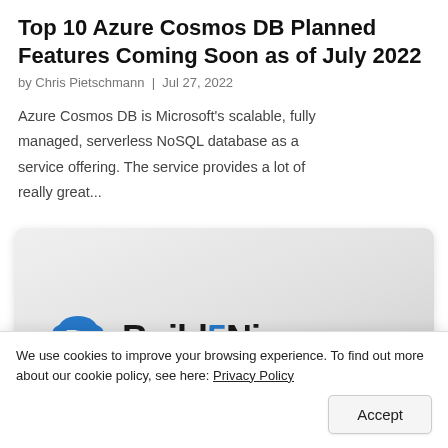Top 10 Azure Cosmos DB Planned Features Coming Soon as of July 2022
by Chris Pietschmann | Jul 27, 2022
Azure Cosmos DB is Microsoft's scalable, fully managed, serverless NoSQL database as a service offering. The service provides a lot of really great...
[Figure (logo): Build5Nines logo with cloud icon on a light grey rounded card background]
We use cookies to improve your browsing experience. To find out more about our cookie policy, see here: Privacy Policy